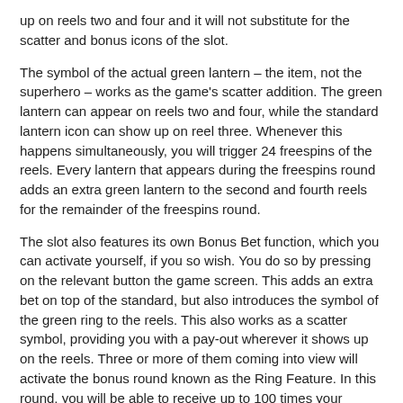up on reels two and four and it will not substitute for the scatter and bonus icons of the slot.
The symbol of the actual green lantern – the item, not the superhero – works as the game's scatter addition. The green lantern can appear on reels two and four, while the standard lantern icon can show up on reel three. Whenever this happens simultaneously, you will trigger 24 freespins of the reels. Every lantern that appears during the freespins round adds an extra green lantern to the second and fourth reels for the remainder of the freespins round.
The slot also features its own Bonus Bet function, which you can activate yourself, if you so wish. You do so by pressing on the relevant button the game screen. This adds an extra bet on top of the standard, but also introduces the symbol of the green ring to the reels. This also works as a scatter symbol, providing you with a pay-out wherever it shows up on the reels. Three or more of them coming into view will activate the bonus round known as the Ring Feature. In this round, you will be able to receive up to 100 times your overall bet. On the other hand, if you don't have the bonus bet active, the standard green ring icon will appear on the reels and only works as a standard extra scatter, rather than being able to trigger an additional feature round.